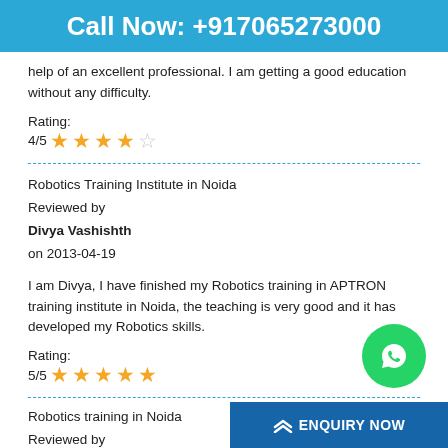Call Now: +917065273000
help of an excellent professional. I am getting a good education without any difficulty.
Rating:
4/5 ★★★★☆
Robotics Training Institute in Noida
Reviewed by
Divya Vashishth
on 2013-04-19
I am Divya, I have finished my Robotics training in APTRON training institute in Noida, the teaching is very good and it has developed my Robotics skills.
Rating:
5/5 ★★★★★
Robotics training in Noida
Reviewed by
ENQUIRY NOW